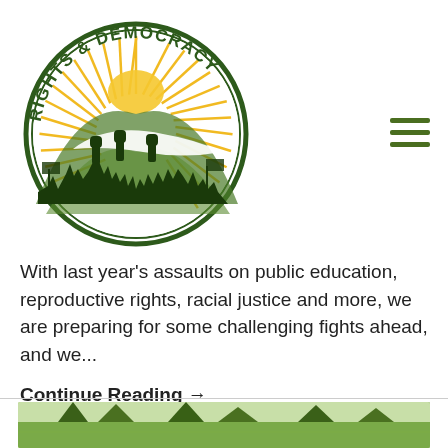[Figure (logo): Rights & Democracy circular logo with sunburst, mountain silhouette, and crowd with raised fists]
With last year's assaults on public education, reproductive rights, racial justice and more, we are preparing for some challenging fights ahead, and we...
Continue Reading →
[Figure (photo): Outdoor scene with trees, partial view cropped at bottom of page]